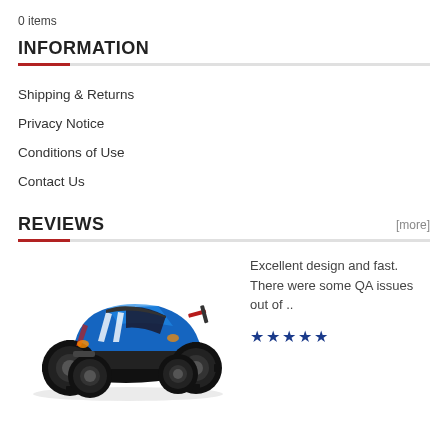0 items
INFORMATION
Shipping & Returns
Privacy Notice
Conditions of Use
Contact Us
REVIEWS
[Figure (photo): Blue RC monster truck toy car with large off-road tires]
Excellent design and fast. There were some QA issues out of ..
★★★★★